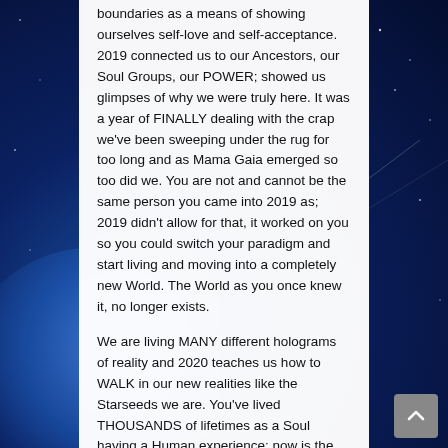boundaries as a means of showing ourselves self-love and self-acceptance. 2019 connected us to our Ancestors, our Soul Groups, our POWER; showed us glimpses of why we were truly here. It was a year of FINALLY dealing with the crap we've been sweeping under the rug for too long and as Mama Gaia emerged so too did we. You are not and cannot be the same person you came into 2019 as; 2019 didn't allow for that, it worked on you so you could switch your paradigm and start living and moving into a completely new World. The World as you once knew it, no longer exists.
We are living MANY different holograms of reality and 2020 teaches us how to WALK in our new realities like the Starseeds we are. You've lived THOUSANDS of lifetimes as a Soul having a Human experience; now is the time to live as Star Beings interchanging in all the dimensions that create our ideal paradigm.